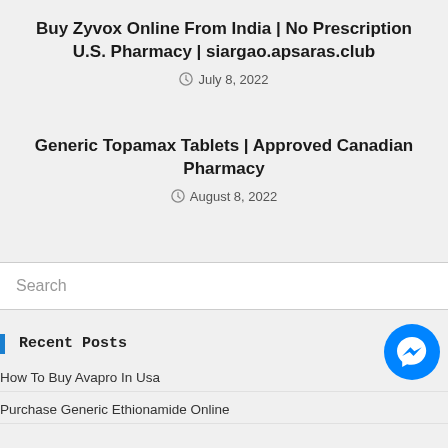Buy Zyvox Online From India | No Prescription U.S. Pharmacy | siargao.apsaras.club
July 8, 2022
Generic Topamax Tablets | Approved Canadian Pharmacy
August 8, 2022
Search
Recent Posts
How To Buy Avapro In Usa
Purchase Generic Ethionamide Online